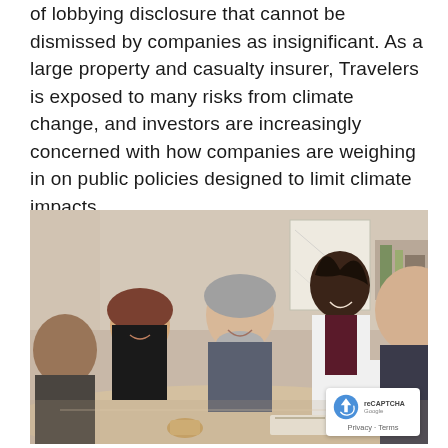of lobbying disclosure that cannot be dismissed by companies as insignificant. As a large property and casualty insurer, Travelers is exposed to many risks from climate change, and investors are increasingly concerned with how companies are weighing in on public policies designed to limit climate impacts.
[Figure (photo): Business meeting photo showing five people around a table. A woman in a white blazer stands and smiles while presenting to colleagues. An older man with grey hair and beard laughs, and others are seated around the table with coffee cups and papers.]